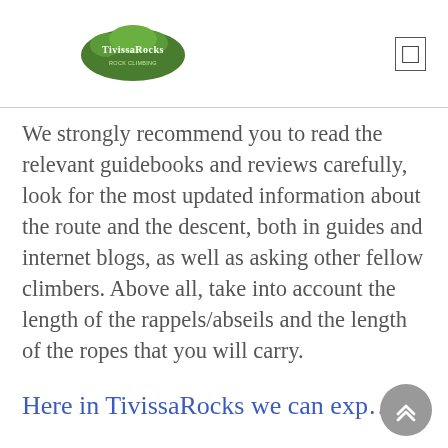TivissaRocks
We strongly recommend you to read the relevant guidebooks and reviews carefully, look for the most updated information about the route and the descent, both in guides and internet blogs, as well as asking other fellow climbers. Above all, take into account the length of the rappels/abseils and the length of the ropes that you will carry.
Here in TivissaRocks we can exp... the simplest and safest way to...